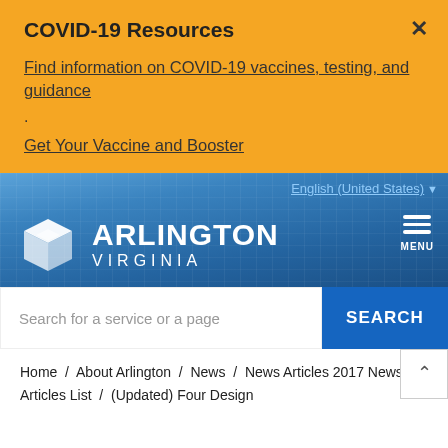COVID-19 Resources
Find information on COVID-19 vaccines, testing, and guidance
.
Get Your Vaccine and Booster
[Figure (screenshot): Arlington Virginia government website header with blue background showing a government building, Arlington Virginia logo with diamond shape, language selector showing English (United States), and hamburger menu button labeled MENU]
Search for a service or a page
SEARCH
Home / About Arlington / News / News Articles 2017 News Articles List / (Updated) Four Design